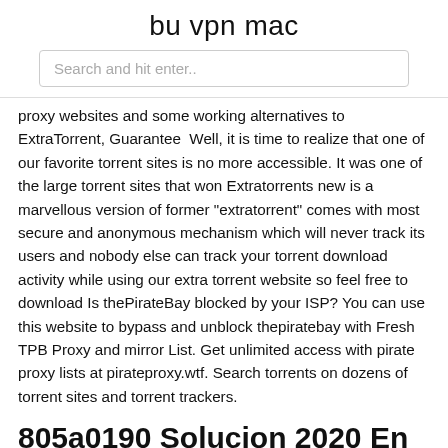bu vpn mac
Search and hit enter..
proxy websites and some working alternatives to ExtraTorrent, Guarantee  Well, it is time to realize that one of our favorite torrent sites is no more accessible. It was one of the large torrent sites that won Extratorrents new is a marvellous version of former "extratorrent" comes with most secure and anonymous mechanism which will never track its users and nobody else can track your torrent download activity while using our extra torrent website so feel free to download Is thePirateBay blocked by your ISP? You can use this website to bypass and unblock thepiratebay with Fresh TPB Proxy and mirror List. Get unlimited access with pirate proxy lists at pirateproxy.wtf. Search torrents on dozens of torrent sites and torrent trackers.
805a0190 Solucion 2020 En Taringa